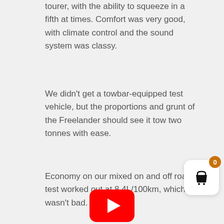tourer, with the ability to squeeze in a fifth at times. Comfort was very good, with climate control and the sound system was classy.
We didn't get a towbar-equipped test vehicle, but the proportions and grunt of the Freelander should see it tow two tonnes with ease.
Economy on our mixed on and off road test worked out at 8.4L/100km, which wasn't bad.
[Figure (other): Shopping cart icon button with orange badge showing count 0, white rounded square background]
[Figure (other): Partial YouTube logo (red rounded rectangle with white play arrow) visible at bottom of page]